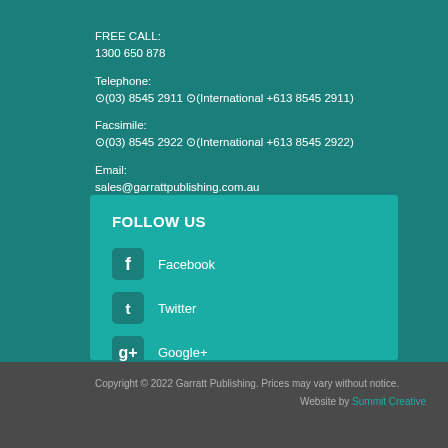FREE CALL:
1300 650 878
Telephone:
(03) 8545 2911 (International +613 8545 2911)
Facsimile:
(03) 8545 2922 (International +613 8545 2922)
Email:
sales@garrattpublishing.com.au
FOLLOW US
Facebook
Twitter
Google+
YouTube
Copyright © 2022 Garratt Publishing. Prices may vary without notice.
Website by Summit Creative